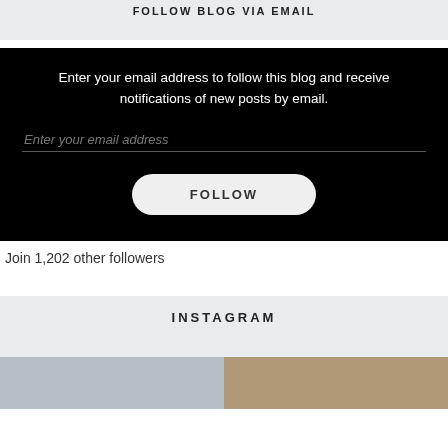FOLLOW BLOG VIA EMAIL
Enter your email address to follow this blog and receive notifications of new posts by email.
Enter your email address
FOLLOW
Join 1,202 other followers
INSTAGRAM
[Figure (photo): Two partial photos side by side at the bottom, partially visible]